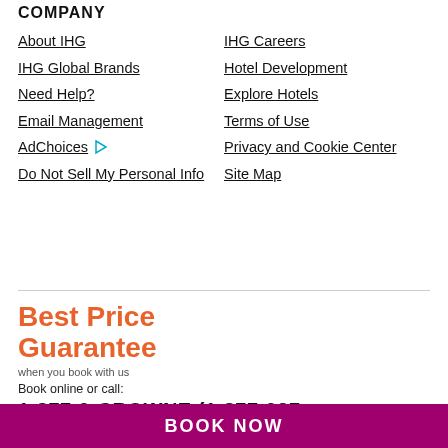COMPANY
About IHG
IHG Careers
IHG Global Brands
Hotel Development
Need Help?
Explore Hotels
Email Management
Terms of Use
AdChoices
Privacy and Cookie Center
Do Not Sell My Personal Info
Site Map
[Figure (logo): Best Price Guarantee when you book with us logo in orange text]
Book online or call:
1-877-9-CROWNE (1-877-927-...
BOOK NOW